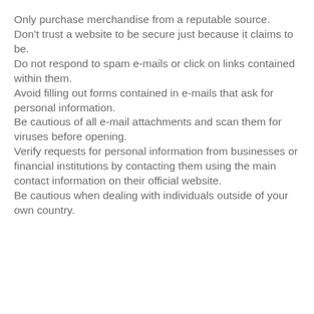Only purchase merchandise from a reputable source.
Don't trust a website to be secure just because it claims to be.
Do not respond to spam e-mails or click on links contained within them.
Avoid filling out forms contained in e-mails that ask for personal information.
Be cautious of all e-mail attachments and scan them for viruses before opening.
Verify requests for personal information from businesses or financial institutions by contacting them using the main contact information on their official website.
Be cautious when dealing with individuals outside of your own country.